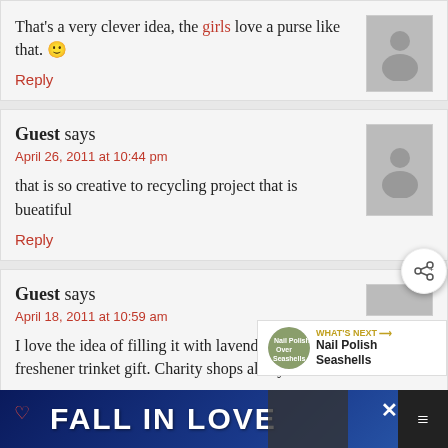That's a very clever idea, the girls love a purse like that. 🙂
Reply
Guest says
April 26, 2011 at 10:44 pm
that is so creative to recycling project that is bueatiful
Reply
Guest says
April 18, 2011 at 10:59 am
I love the idea of filling it with lavender as a closet freshener trinket gift. Charity shops always have b... lo...
WHAT'S NEXT → Nail Polish Seashells
FALL IN LOVE